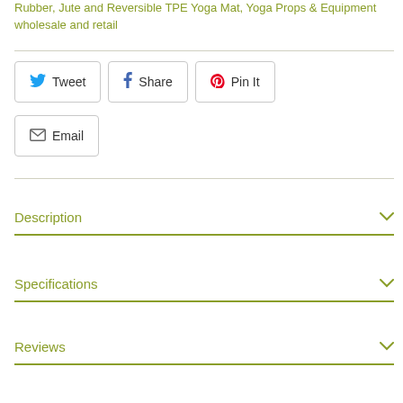Rubber, Jute and Reversible TPE Yoga Mat, Yoga Props & Equipment wholesale and retail
Tweet
Share
Pin It
Email
Description
Specifications
Reviews